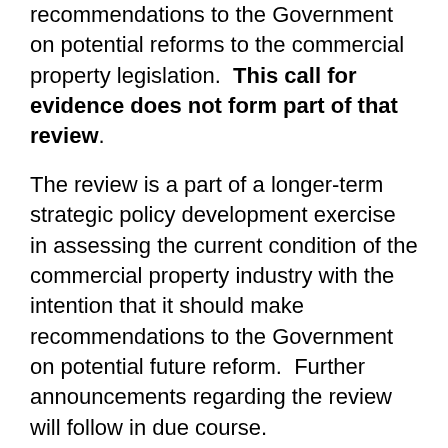recommendations to the Government on potential reforms to the commercial property legislation.  This call for evidence does not form part of that review.
The review is a part of a longer-term strategic policy development exercise in assessing the current condition of the commercial property industry with the intention that it should make recommendations to the Government on potential future reform.  Further announcements regarding the review will follow in due course.
Many landlords have raised concerns about tenant businesses using Company Voluntary Arrangements (CVAs) to alter lease terms and disclaim leases of unprofitable locations, particularly after the landlord has agreed rent